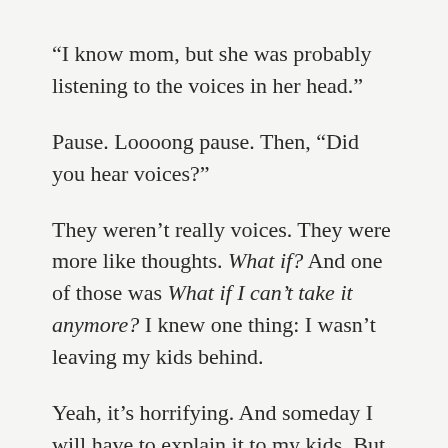“I know mom, but she was probably listening to the voices in her head.”
Pause. Loooong pause. Then, “Did you hear voices?”
They weren’t really voices. They were more like thoughts. What if? And one of those was What if I can’t take it anymore? I knew one thing: I wasn’t leaving my kids behind.
Yeah, it’s horrifying. And someday I will have to explain it to my kids. But I keep saying it because you need to know. From the outside I looked and sounded normal. It was my inside that was all messed up and there was a part of me that knew